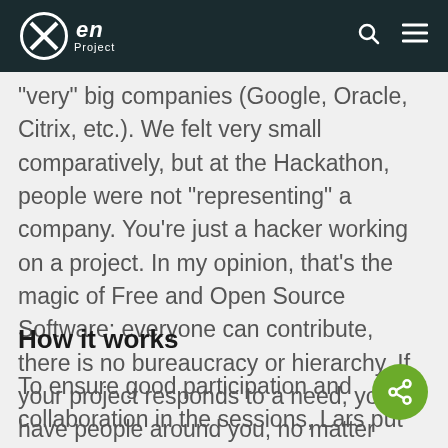Xen Project
“very” big companies (Google, Oracle, Citrix, etc.). We felt very small comparatively, but at the Hackathon, people were not “representing” a company. You’re just a hacker working on a project. In my opinion, that’s the magic of Free and Open Source Software: everyone can contribute, there is no bureaucracy or hierarchy. If your project responds to a need, you’ll have people around you, no matter where you from. We felt the Bazaar model was very present at this event.
How it works
To ensure good participation and collaboration in the sessions, Lars put